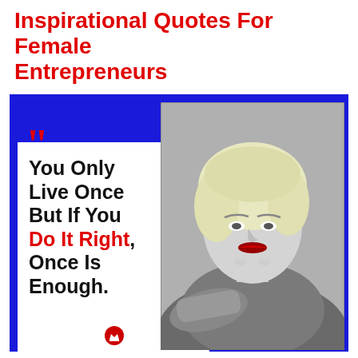Inspirational Quotes For Female Entrepreneurs
[Figure (infographic): Blue background infographic with white quote card on the left showing the quote 'You Only Live Once But If You Do It Right, Once Is Enough.' with red quotation marks and 'Do It Right' in red. A black-and-white portrait photo of a vintage blonde woman (Mae West) is on the right side.]